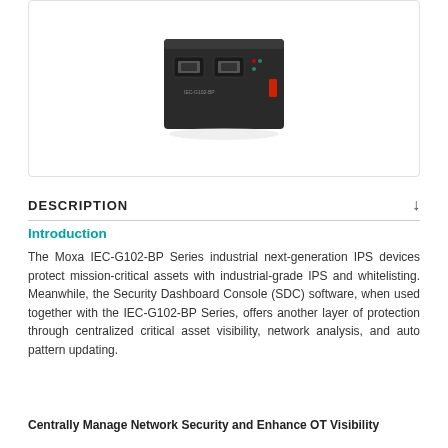[Figure (photo): Moxa IEC-G102-BP industrial network security device, dark-colored box with ethernet ports and indicator lights]
DESCRIPTION
Introduction
The Moxa IEC-G102-BP Series industrial next-generation IPS devices protect mission-critical assets with industrial-grade IPS and whitelisting. Meanwhile, the Security Dashboard Console (SDC) software, when used together with the IEC-G102-BP Series, offers another layer of protection through centralized critical asset visibility, network analysis, and auto pattern updating.
Centrally Manage Network Security and Enhance OT Visibility